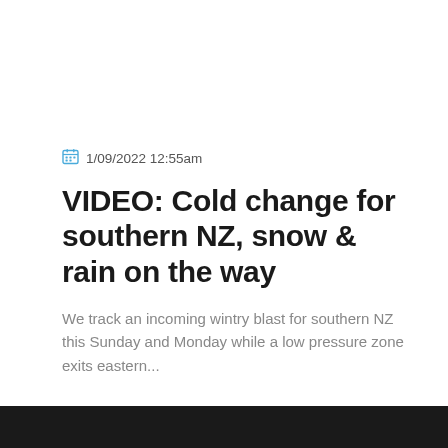1/09/2022 12:55am
VIDEO: Cold change for southern NZ, snow & rain on the way
We track an incoming wintry blast for southern NZ this Sunday and Monday while a low pressure zone exits eastern...